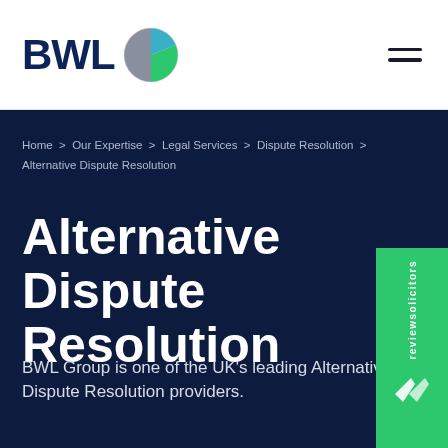[Figure (logo): BWL Group logo with text 'BWL' in dark navy and a circular globe icon in grey/teal/green]
[Figure (other): Hamburger menu icon (three horizontal lines)]
Home > Our Expertise > Legal Services > Dispute Resolution > Alternative Dispute Resolution
Alternative Dispute Resolution
BWL Group is one of the UK's leading Alternative Dispute Resolution providers.
[Figure (other): reviewsolicitors green badge on right side with vertical text and checkmark logo]